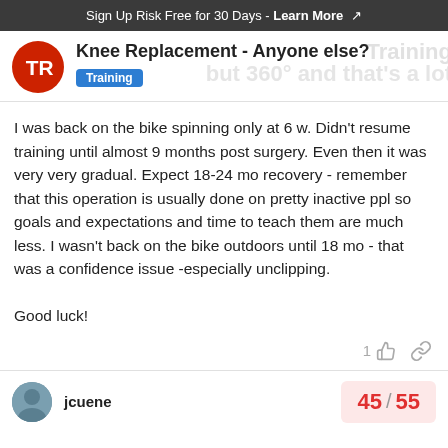Sign Up Risk Free for 30 Days - Learn More
Knee Replacement - Anyone else?
Training
I was back on the bike spinning only at 6 w. Didn't resume training until almost 9 months post surgery. Even then it was very very gradual. Expect 18-24 mo recovery - remember that this operation is usually done on pretty inactive ppl so goals and expectations and time to teach them are much less. I wasn't back on the bike outdoors until 18 mo - that was a confidence issue -especially unclipping.

Good luck!
1
jcuene
45 / 55